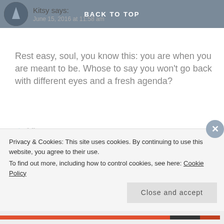BACK TO TOP
Kitsy says:
June 15, 2016 at 11:58 am
Rest easy, soul, you know this: you are when you are meant to be. Whose to say you won’t go back with different eyes and a fresh agenda?
★ Like
Reply ›
the confessions of a wanderer says:
June 16, 2016 at 7:30 pm
Privacy & Cookies: This site uses cookies. By continuing to use this website, you agree to their use.
To find out more, including how to control cookies, see here: Cookie Policy
Close and accept